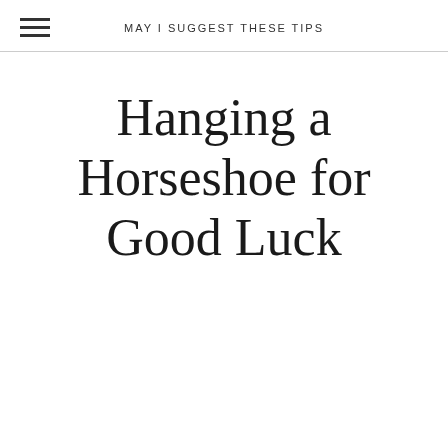MAY I SUGGEST THESE TIPS
Hanging a Horseshoe for Good Luck